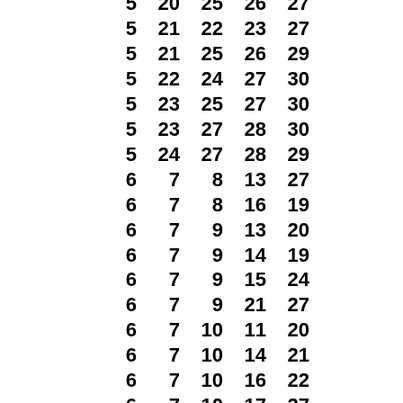| 5 | 20 | 25 | 26 | 27 |
| 5 | 21 | 22 | 23 | 27 |
| 5 | 21 | 25 | 26 | 29 |
| 5 | 22 | 24 | 27 | 30 |
| 5 | 23 | 25 | 27 | 30 |
| 5 | 23 | 27 | 28 | 30 |
| 5 | 24 | 27 | 28 | 29 |
| 6 | 7 | 8 | 13 | 27 |
| 6 | 7 | 8 | 16 | 19 |
| 6 | 7 | 9 | 13 | 20 |
| 6 | 7 | 9 | 14 | 19 |
| 6 | 7 | 9 | 15 | 24 |
| 6 | 7 | 9 | 21 | 27 |
| 6 | 7 | 10 | 11 | 20 |
| 6 | 7 | 10 | 14 | 21 |
| 6 | 7 | 10 | 16 | 22 |
| 6 | 7 | 10 | 17 | 27 |
| 6 | 7 | 11 | 14 | 27 |
| 6 | 7 | 11 | 17 | 23 |